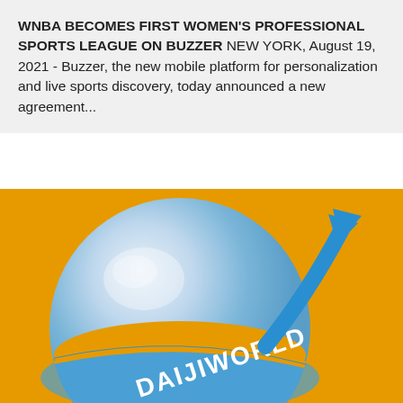WNBA BECOMES FIRST WOMEN'S PROFESSIONAL SPORTS LEAGUE ON BUZZER NEW YORK, August 19, 2021 - Buzzer, the new mobile platform for personalization and live sports discovery, today announced a new agreement...
[Figure (logo): Daijiworld logo: a blue globe/sphere with a blue arrow curving upward from the right side on an orange background, with 'DAIJIWORLD' text written along the lower band of the globe.]